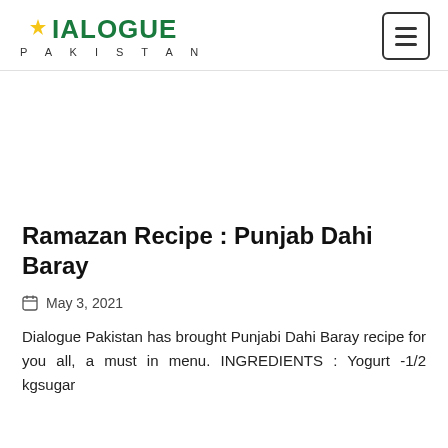DIALOGUE PAKISTAN
Ramazan Recipe : Punjab Dahi Baray
May 3, 2021
Dialogue Pakistan has brought Punjabi Dahi Baray recipe for you all, a must in menu. INGREDIENTS : Yogurt -1/2 kgsugar